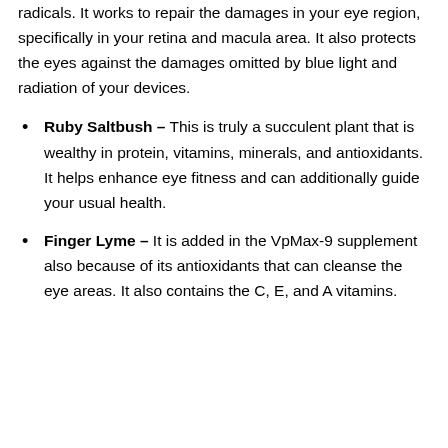radicals. It works to repair the damages in your eye region, specifically in your retina and macula area. It also protects the eyes against the damages omitted by blue light and radiation of your devices.
Ruby Saltbush – This is truly a succulent plant that is wealthy in protein, vitamins, minerals, and antioxidants. It helps enhance eye fitness and can additionally guide your usual health.
Finger Lyme – It is added in the VpMax-9 supplement also because of its antioxidants that can cleanse the eye areas. It also contains the C, E, and A vitamins.